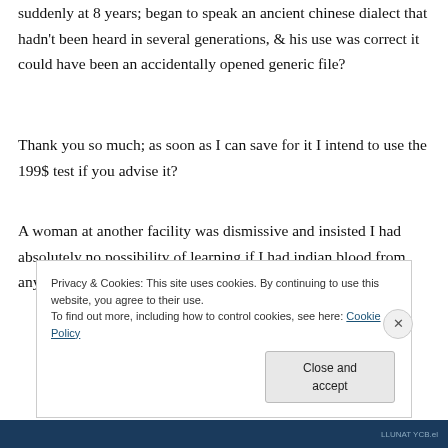suddenly at 8 years; began to speak an ancient chinese dialect that hadn't been heard in several generations, & his use was correct it could have been an accidentally opened generic file?
Thank you so much; as soon as I can save for it I intend to use the 199$ test if you advise it?
A woman at another facility was dismissive and insisted I had absolutely no possibility of learning if I had indian blood from any currant testing so I was depressed!
Privacy & Cookies: This site uses cookies. By continuing to use this website, you agree to their use.
To find out more, including how to control cookies, see here: Cookie Policy